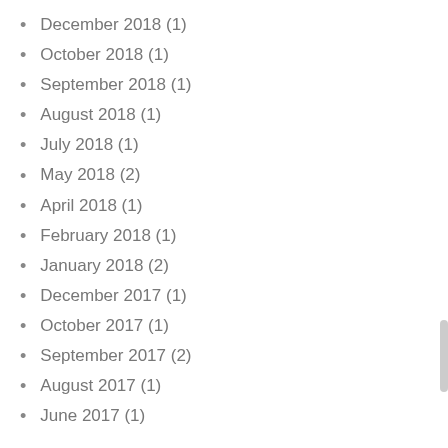December 2018 (1)
October 2018 (1)
September 2018 (1)
August 2018 (1)
July 2018 (1)
May 2018 (2)
April 2018 (1)
February 2018 (1)
January 2018 (2)
December 2017 (1)
October 2017 (1)
September 2017 (2)
August 2017 (1)
June 2017 (1)